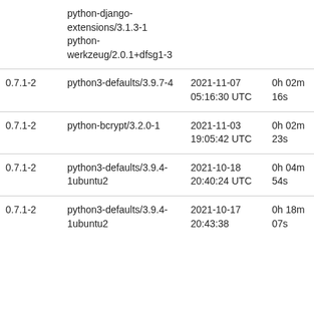|  | python-django-extensions/3.1.3-1 python-werkzeug/2.0.1+dfsg1-3 |  |  |  |
| 0.7.1-2 | python3-defaults/3.9.7-4 | 2021-11-07 05:16:30 UTC | 0h 02m 16s | - |
| 0.7.1-2 | python-bcrypt/3.2.0-1 | 2021-11-03 19:05:42 UTC | 0h 02m 23s | - |
| 0.7.1-2 | python3-defaults/3.9.4-1ubuntu2 | 2021-10-18 20:40:24 UTC | 0h 04m 54s | vorlon |
| 0.7.1-2 | python3-defaults/3.9.4-1ubuntu2 | 2021-10-17 20:43:38 UTC | 0h 18m 07s | vorlon |